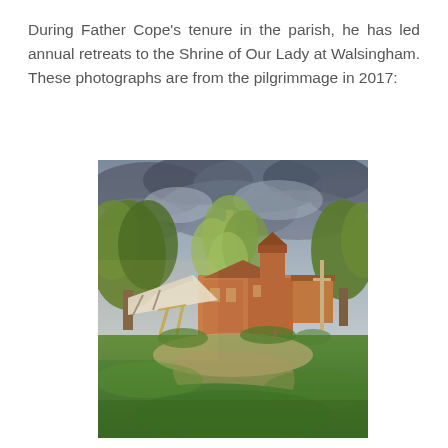During Father Cope's tenure in the parish, he has led annual retreats to the Shrine of Our Lady at Walsingham. These photographs are from the pilgrimmage in 2017:
[Figure (photo): Outdoor photograph of the Shrine of Our Lady at Walsingham, showing a red-brick church building with a tower, surrounded by large green trees including a central birch tree, with a white canvas canopy/tent to the left, green grass lawn in the foreground, and a dramatic cloudy sky above. The scene is bathed in warm golden light.]